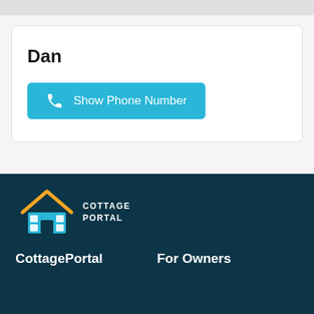Dan
Show Phone Number
[Figure (logo): CottagePortal logo with orange roof and cyan house icon]
CottagePortal
For Owners